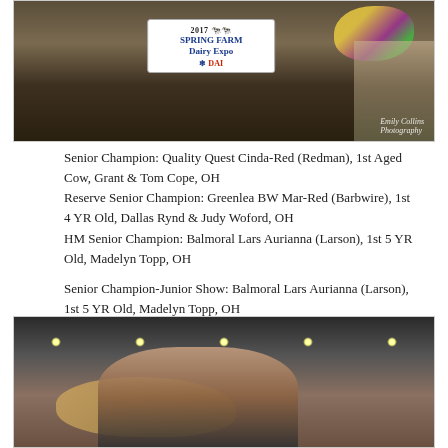[Figure (photo): Livestock show photo at 2017 Spring Farm Dairy Expo (DAI), showing a sign with the event name, flowers, and people in the background. Photo credit: Emily Collins Photography.]
Senior Champion: Quality Quest Cinda-Red (Redman), 1st Aged Cow, Grant & Tom Cope, OH
Reserve Senior Champion: Greenlea BW Mar-Red (Barbwire), 1st 4 YR Old, Dallas Rynd & Judy Woford, OH
HM Senior Champion: Balmoral Lars Aurianna (Larson), 1st 5 YR Old, Madelyn Topp, OH

Senior Champion-Junior Show: Balmoral Lars Aurianna (Larson), 1st 5 YR Old, Madelyn Topp, OH
Reserve Senior Champion-Junior Show: Oneeda Rocco Tawny (Rocco), 2nd Aged Cow, Madelyn Topp, OH
[Figure (photo): Indoor livestock show photo showing a blonde woman handler with a brown cow in a barn setting with overhead lights.]